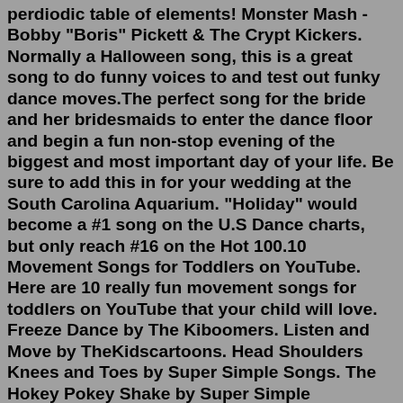perdiodic table of elements! Monster Mash - Bobby "Boris" Pickett & The Crypt Kickers. Normally a Halloween song, this is a great song to do funny voices to and test out funky dance moves.The perfect song for the bride and her bridesmaids to enter the dance floor and begin a fun non-stop evening of the biggest and most important day of your life. Be sure to add this in for your wedding at the South Carolina Aquarium. "Holiday" would become a #1 song on the U.S Dance charts, but only reach #16 on the Hot 100.10 Movement Songs for Toddlers on YouTube. Here are 10 really fun movement songs for toddlers on YouTube that your child will love. Freeze Dance by The Kiboomers. Listen and Move by TheKidscartoons. Head Shoulders Knees and Toes by Super Simple Songs. The Hokey Pokey Shake by Super Simple Songs.The wedding reception is a time to celebrate and dance the night away. Look at our list of the 200 best wedding reception songs and start compiling your list. Anniversaries; Baby; Baby Showers; Birthdays; ... Once you have your list of fun